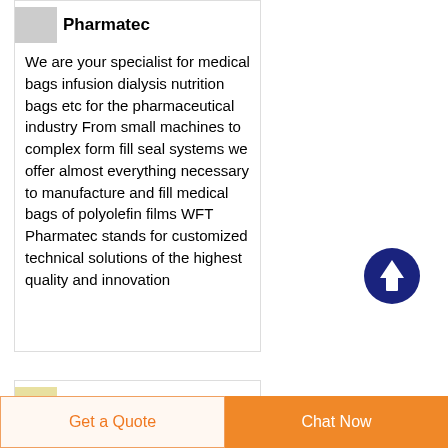Pharmatec
We are your specialist for medical bags infusion dialysis nutrition bags etc for the pharmaceutical industry From small machines to complex form fill seal systems we offer almost everything necessary to manufacture and fill medical bags of polyolefin films WFT Pharmatec stands for customized technical solutions of the highest quality and innovation
Focus onIV
Get a Quote
Chat Now